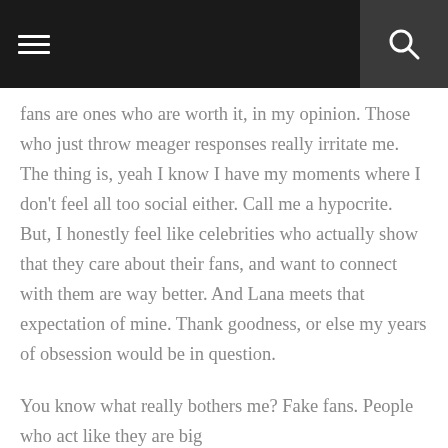[navigation bar with hamburger menu and search icon]
fans are ones who are worth it, in my opinion. Those who just throw meager responses really irritate me. The thing is, yeah I know I have my moments where I don't feel all too social either. Call me a hypocrite. But, I honestly feel like celebrities who actually show that they care about their fans, and want to connect with them are way better. And Lana meets that expectation of mine. Thank goodness, or else my years of obsession would be in question.
You know what really bothers me? Fake fans. People who act like they are big